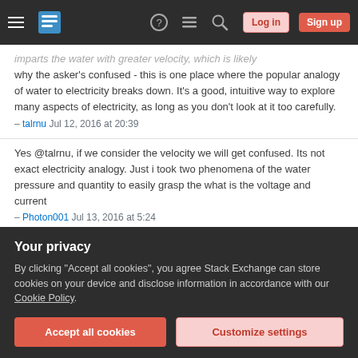Stack Exchange navigation header with hamburger menu, logo, help, chat, search icons, Log in and Sign up buttons
imparts the water with greater velocity, which is likely why the asker's confused - this is one place where the popular analogy of water to electricity breaks down. It's a good, intuitive way to explore many aspects of electricity, as long as you don't look at it too carefully.
– talrnu Jul 12, 2016 at 20:39
Yes @talrnu, if we consider the velocity we will get confused. Its not exact electricity analogy. Just i took two phenomena of the water pressure and quantity to easily grasp the what is the voltage and current
– Photon001 Jul 13, 2016 at 5:24
1  Agree, this answer is problematic because the speed of the flowing water increases with pressure, while the
Your privacy
By clicking "Accept all cookies", you agree Stack Exchange can store cookies on your device and disclose information in accordance with our Cookie Policy.
Accept all cookies   Customize settings
delivers the same power as lower voltage with higher current. the same thing must be demonstrated at the